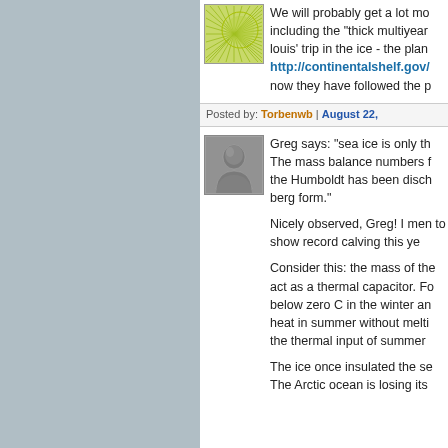[Figure (illustration): Green sunburst/radial pattern avatar image]
We will probably get a lot mo including the "thick multiyear louis' trip in the ice - the plan http://continentalshelf.gov/ now they have followed the p
Posted by: Torbenwb | August 22,
[Figure (illustration): Gray embossed portrait/person avatar image]
Greg says: "sea ice is only th The mass balance numbers f the Humboldt has been disch berg form."
Nicely observed, Greg! I men to show record calving this ye
Consider this: the mass of the act as a thermal capacitor. Fo below zero C in the winter an heat in summer without melti the thermal input of summer
The ice once insulated the se The Arctic ocean is losing its